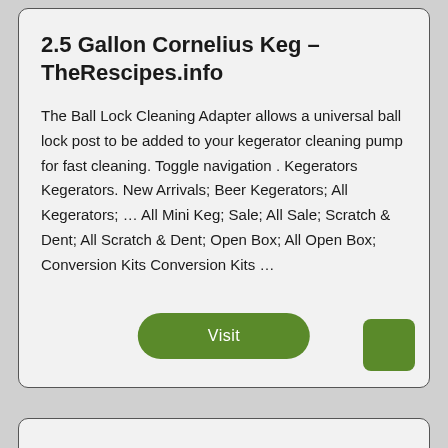2.5 Gallon Cornelius Keg – TheRescipes.info
The Ball Lock Cleaning Adapter allows a universal ball lock post to be added to your kegerator cleaning pump for fast cleaning. Toggle navigation . Kegerators Kegerators. New Arrivals; Beer Kegerators; All Kegerators; … All Mini Keg; Sale; All Sale; Scratch & Dent; All Scratch & Dent; Open Box; All Open Box; Conversion Kits Conversion Kits …